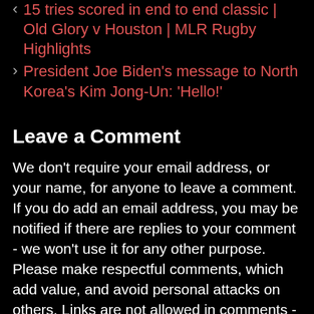‹ 15 tries scored in end to end classic | Old Glory v Houston | MLR Rugby Highlights
› President Joe Biden's message to North Korea's Kim Jong-Un: 'Hello!'
Leave a Comment
We don't require your email address, or your name, for anyone to leave a comment. If you do add an email address, you may be notified if there are replies to your comment - we won't use it for any other purpose. Please make respectful comments, which add value, and avoid personal attacks on others. Links are not allowed in comments - 99% of spam comments, attempt to post links. Please describe where people may find